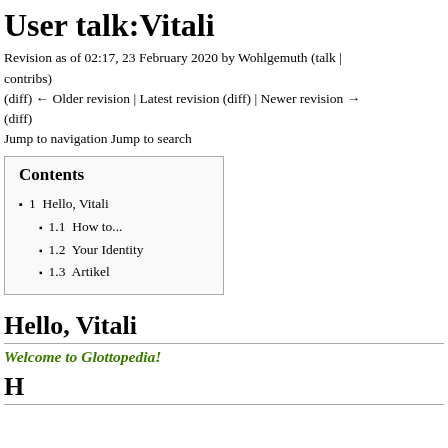User talk:Vitali
Revision as of 02:17, 23 February 2020 by Wohlgemuth (talk | contribs)
(diff) ← Older revision | Latest revision (diff) | Newer revision → (diff)
Jump to navigation Jump to search
| Contents |
| --- |
| 1  Hello, Vitali |
| 1.1  How to... |
| 1.2  Your Identity |
| 1.3  Artikel |
Hello, Vitali
Welcome to Glottopedia!
H